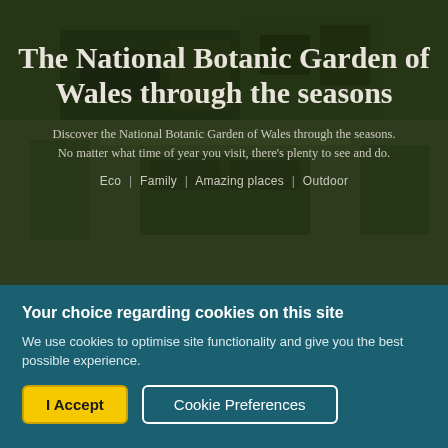[Figure (photo): Aerial view of the National Botanic Garden of Wales, showing green landscape and garden structures with a dark overlay.]
The National Botanic Garden of Wales through the seasons
Discover the National Botanic Garden of Wales through the seasons. No matter what time of year you visit, there's plenty to see and do.
Eco  |  Family  |  Amazing places  |  Outdoor
Your choice regarding cookies on this site
We use cookies to optimise site functionality and give you the best possible experience.
I Accept
Cookie Preferences